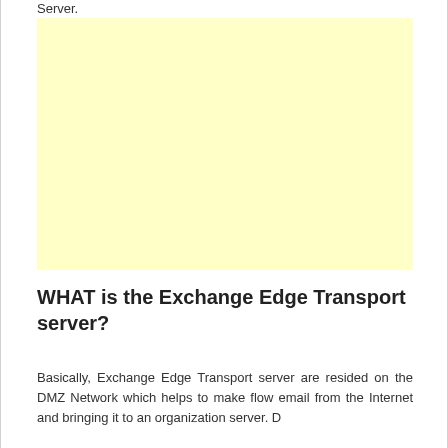Server.
[Figure (other): Yellow/cream colored advertisement or placeholder box]
WHAT is the Exchange Edge Transport server?
Basically, Exchange Edge Transport server are resided on the DMZ Network which helps to make flow email from the Internet and bringing it to an organization server. D